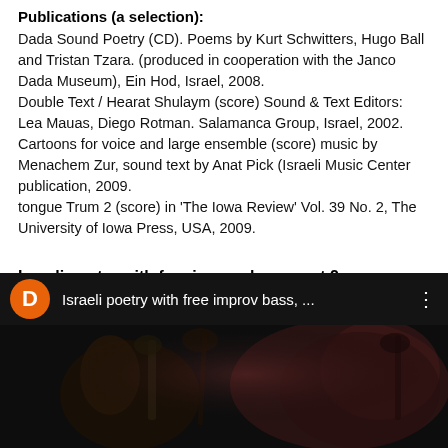Publications (a selection):
Dada Sound Poetry (CD). Poems by Kurt Schwitters, Hugo Ball and Tristan Tzara. (produced in cooperation with the Janco Dada Museum), Ein Hod, Israel, 2008.
Double Text / Hearat Shulaym (score) Sound & Text Editors: Lea Mauas, Diego Rotman. Salamanca Group, Israel, 2002.
Cartoons for voice and large ensemble (score) music by Menachem Zur, sound text by Anat Pick (Israeli Music Center publication, 2009.
tongue Trum 2 (score) in 'The Iowa Review' Vol. 39 No. 2, The University of Iowa Press, USA, 2009.
Israeli poetry with free improv bass, part 2
[Figure (screenshot): Video thumbnail showing a dark scene with musicians playing instruments. The top bar shows an orange avatar with letter D, the title 'Israeli poetry with free improv bass, ...' and a three-dot menu icon.]